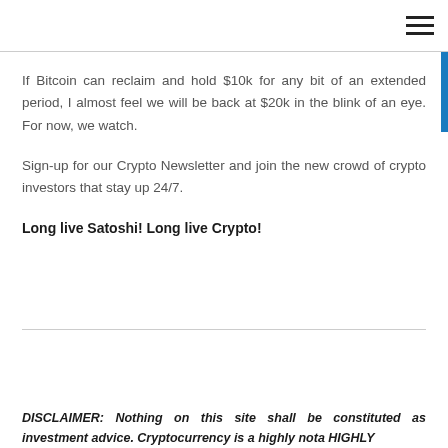If Bitcoin can reclaim and hold $10k for any bit of an extended period, I almost feel we will be back at $20k in the blink of an eye.  For now, we watch.
Sign-up for our Crypto Newsletter and join the new crowd of crypto investors that stay up 24/7.
Long live Satoshi!  Long live Crypto!
DISCLAIMER:  Nothing on this site shall be constituted as investment advice.  Cryptocurrency is a highly nota HIGHLY